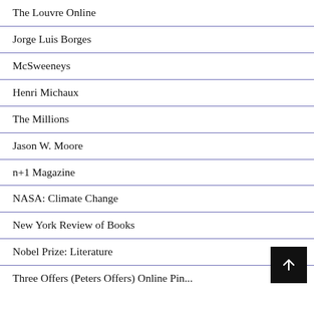The Louvre Online
Jorge Luis Borges
McSweeneys
Henri Michaux
The Millions
Jason W. Moore
n+1 Magazine
NASA: Climate Change
New York Review of Books
Nobel Prize: Literature
Three Offers (Peters Offers) Online Pin...